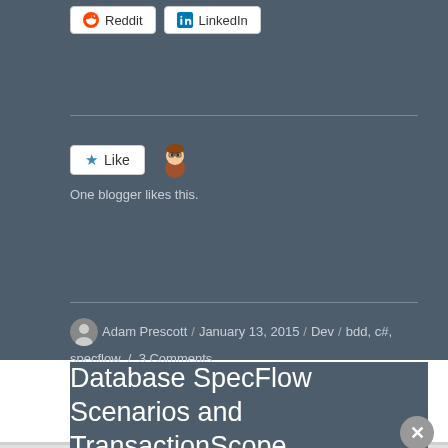[Figure (other): Social share buttons: Reddit and LinkedIn]
[Figure (other): Like button with star icon and blogger avatar emoji; text: One blogger likes this.]
Adam Prescott / January 13, 2015 / Dev / bdd, c#, specflow / 3 Comments
Database SpecFlow Scenarios and TransactionScope
[Figure (other): Victoria's Secret advertisement banner: SHOP THE COLLECTION / SHOP NOW]